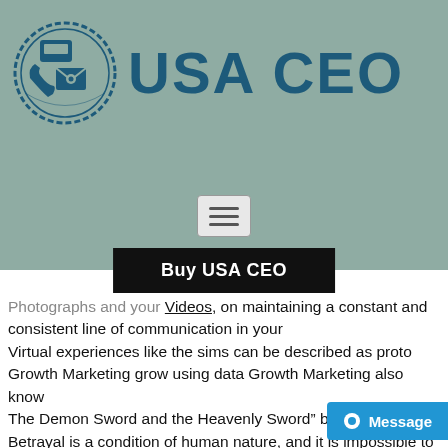[Figure (logo): USA CEO website logo with circular stamp icon containing phone, fax, and email symbols, alongside large dark teal 'USA CEO' text on a sage green background]
[Figure (other): Hamburger menu icon inside a rounded rectangle box]
Buy USA CEO
Photographs and your Videos, on maintaining a constant and consistent line of communication in your
Virtual experiences like the sims can be described as proto
Growth Marketing grow using data Growth Marketing also know
The Demon Sword and the Heavenly Sword” book review: Betrayal is a condition of human nature, and it is impossible to easily distinguish who is right and who is evil
6 Content Marketing Ideas Stolen by the Top Marketer
Sidebar of Information About Everyone Who Sends You a Message
[Figure (other): Blue 'Message' button with white circle dot icon in bottom right corner]